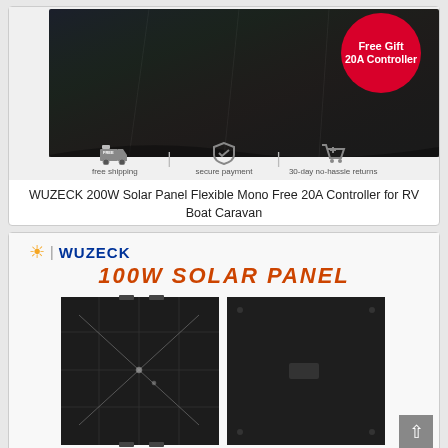[Figure (photo): WUZECK 200W flexible solar panel product photo showing multiple curved solar panels. Includes a red oval badge reading 'Free Gift 20A Controller' and an icon strip at the bottom showing: free shipping, secure payment, 30-day no-hassle returns.]
WUZECK 200W Solar Panel Flexible Mono Free 20A Controller for RV Boat Caravan
[Figure (photo): WUZECK 100W Solar Panel product image. Shows WUZECK logo with sun icon, '100W SOLAR PANEL' in orange italic text, and two solar panel views - front showing flexible panel with grid lines and back showing plain dark back surface.]